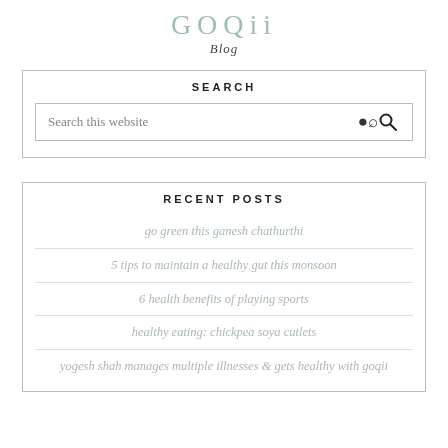GOQii
Blog
SEARCH
Search this website
RECENT POSTS
go green this ganesh chathurthi
5 tips to maintain a healthy gut this monsoon
6 health benefits of playing sports
healthy eating: chickpea soya cutlets
yogesh shah manages multiple illnesses & gets healthy with goqii